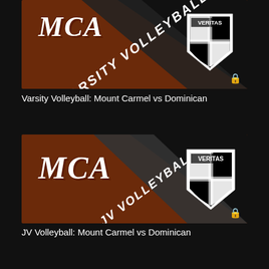[Figure (illustration): MCA Varsity Volleyball thumbnail with brown and black diagonal split, MCA text, diagonal banner reading VARSITY VOLLEYBALL, Veritas shield logo, and lock icon]
Varsity Volleyball: Mount Carmel vs Dominican
[Figure (illustration): MCA JV Volleyball thumbnail with brown and black diagonal split, MCA text, diagonal banner reading JV VOLLEYBALL, Veritas shield logo, and lock icon]
JV Volleyball: Mount Carmel vs Dominican